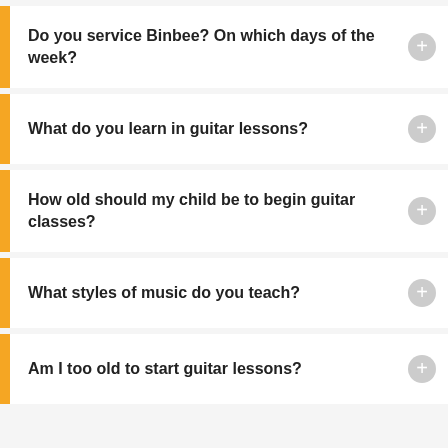Do you service Binbee? On which days of the week?
What do you learn in guitar lessons?
How old should my child be to begin guitar classes?
What styles of music do you teach?
Am I too old to start guitar lessons?